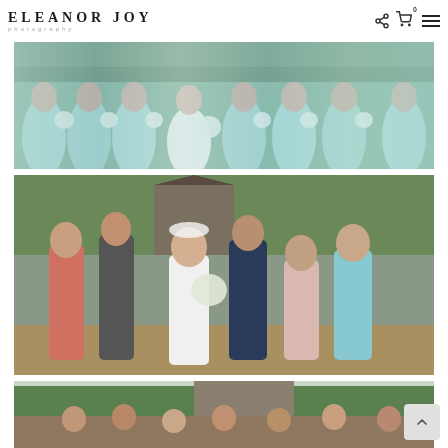ELEANOR JOY photography
[Figure (photo): Wedding bridesmaids group photo with women wearing long light blue/mint dresses and holding white bouquets, with bride in white center]
[Figure (photo): Family group portrait at a wedding outdoors near a historic building with gardens. Six people including bride in white and groom in navy suit, women in coral and blue dresses]
[Figure (photo): Outdoor group photo at wedding venue, partially cropped, showing guests gathered near trees and historic building]